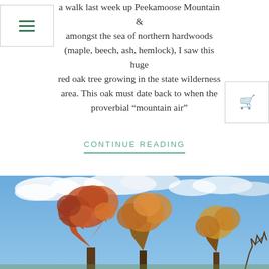a walk last week up Peekamoose Mountain & amongst the sea of northern hardwoods (maple, beech, ash, hemlock), I saw this huge red oak tree growing in the state wilderness area. This oak must date back to when the proverbial “mountain air”
CONTINUE READING
[Figure (photo): Photo of an autumn tree with red, orange, and yellow foliage against a blue sky with white clouds]